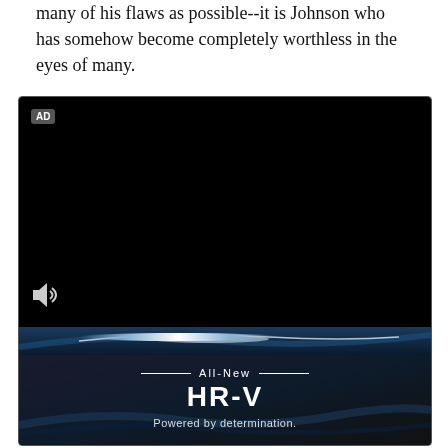many of his flaws as possible--it is Johnson who has somehow become completely worthless in the eyes of many.
[Figure (screenshot): Video advertisement player with black video area showing 'AD' badge in top-left and speaker icon in bottom-left. Below the video is a blue light-streak strip, then a dark background section with 'All-New HR-V Powered by determination.' text.]